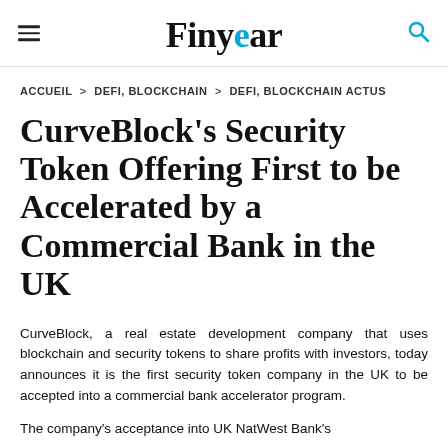Finyear
ACCUEIL > DEFI, BLOCKCHAIN > DEFI, BLOCKCHAIN ACTUS
CurveBlock's Security Token Offering First to be Accelerated by a Commercial Bank in the UK
CurveBlock, a real estate development company that uses blockchain and security tokens to share profits with investors, today announces it is the first security token company in the UK to be accepted into a commercial bank accelerator program.
The company's acceptance into UK NatWest Bank's